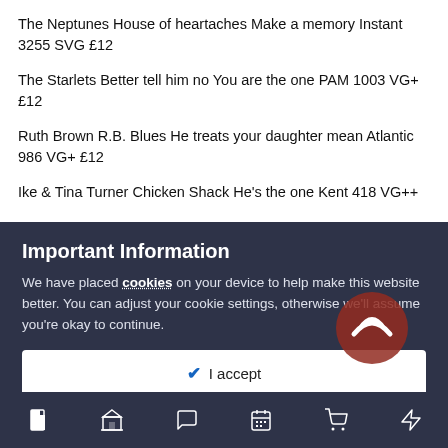The Neptunes House of heartaches Make a memory Instant 3255 SVG £12
The Starlets Better tell him no You are the one PAM 1003 VG+ £12
Ruth Brown R.B. Blues He treats your daughter mean Atlantic 986 VG+ £12
Ike & Tina Turner Chicken Shack He's the one Kent 418 VG++
Important Information
We have placed cookies on your device to help make this website better. You can adjust your cookie settings, otherwise we'll assume you're okay to continue.
✔  I accept
Shins Parlows Think Don't just look at me Immediate 028 VG++ £12 SOLD
The Diplomats Accept my Your love ...